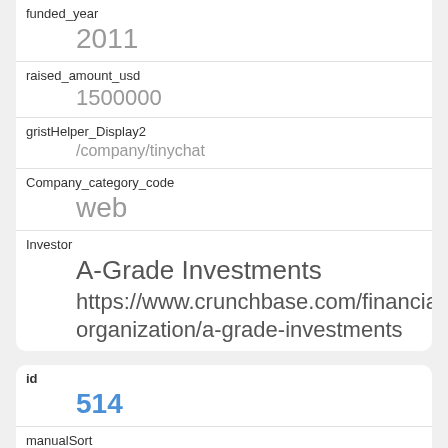| Field | Value |
| --- | --- |
| funded_year | 2011 |
| raised_amount_usd | 1500000 |
| gristHelper_Display2 | /company/tinychat |
| Company_category_code | web |
| Investor | A-Grade Investments
https://www.crunchbase.com/financial-organization/a-grade-investments |
| Field | Value |
| --- | --- |
| id | 514 |
| manualSort | 514 |
| Company | 1697 |
| investor_permalink | /financial-organization/accel-partners |